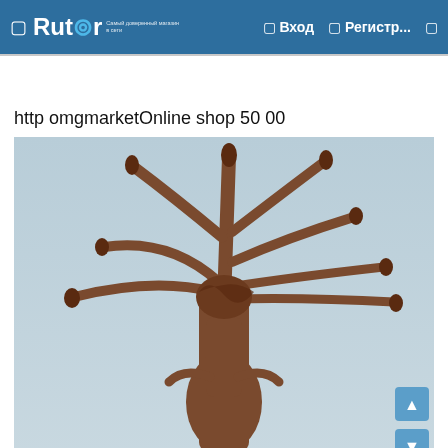Rutor — Вход — Регистр...
http omgmarketOnline shop 50 00
[Figure (photo): Bronze sculpture of a figure with multiple flower-tipped arms branching upward like a candelabra against a blue-grey sky background.]